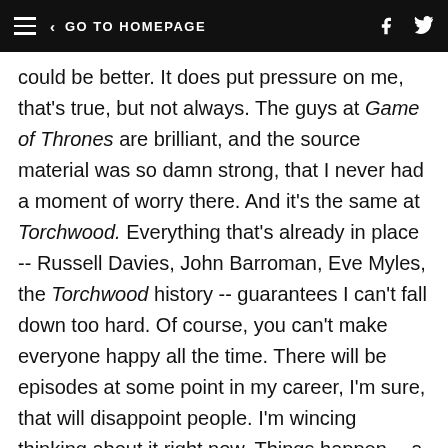GO TO HOMEPAGE
could be better. It does put pressure on me, that's true, but not always. The guys at Game of Thrones are brilliant, and the source material was so damn strong, that I never had a moment of worry there. And it's the same at Torchwood. Everything that's already in place -- Russell Davies, John Barroman, Eve Myles, the Torchwood history -- guarantees I can't fall down too hard. Of course, you can't make everyone happy all the time. There will be episodes at some point in my career, I'm sure, that will disappoint people. I'm wincing thinking about it right now. Things happen -- a story collapses or a performance falls apart, or maybe I just write something stupid. I do often write stupid things,